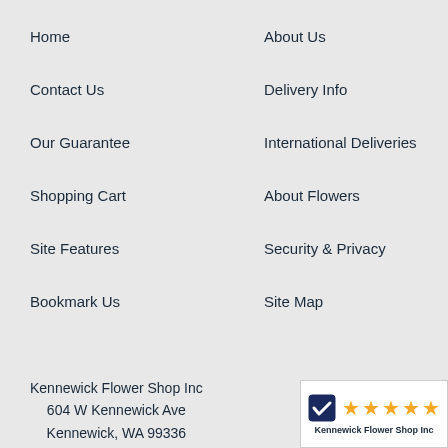Home
About Us
Contact Us
Delivery Info
Our Guarantee
International Deliveries
Shopping Cart
About Flowers
Site Features
Security & Privacy
Bookmark Us
Site Map
Kennewick Flower Shop Inc
604 W Kennewick Ave
Kennewick, WA 99336
[Figure (logo): Kennewick Flower Shop Inc badge with five gold stars and a checkmark icon]